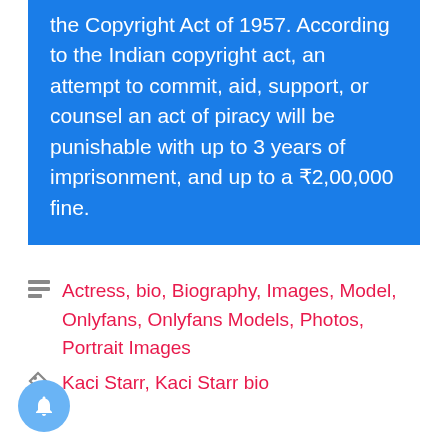the Copyright Act of 1957. According to the Indian copyright act, an attempt to commit, aid, support, or counsel an act of piracy will be punishable with up to 3 years of imprisonment, and up to a ₹2,00,000 fine.
Actress, bio, Biography, Images, Model, Onlyfans, Onlyfans Models, Photos, Portrait Images
Kaci Starr, Kaci Starr bio